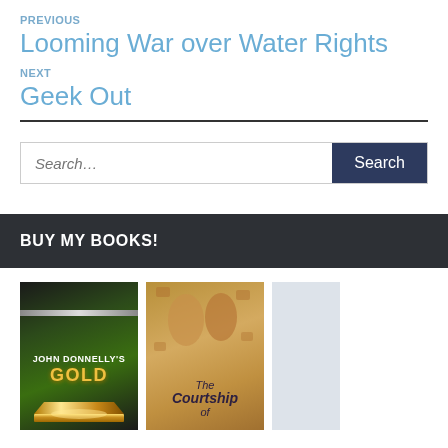PREVIOUS
Looming War over Water Rights
NEXT
Geek Out
Search...
BUY MY BOOKS!
[Figure (photo): Book cover: John Donnelly's Gold, dark green background with gold bar]
[Figure (photo): Book cover: The Courtship of, tan/gold background with figures]
[Figure (photo): Partial book cover, light blue/grey]